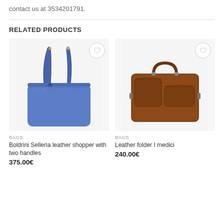contact us at 3534201791.
RELATED PRODUCTS
[Figure (photo): Blue leather tote bag (Boldrini Selleria) with two shoulder handles, on white background. Heart/wishlist icon in top right corner.]
BAGS
Boldrini Selleria leather shopper with two handles
375.00€
[Figure (photo): Brown leather briefcase/folder bag (Leather folder I medici) with top handle and front pockets, on white background. Heart/wishlist icon in top right corner.]
BAGS
Leather folder I medici
240.00€